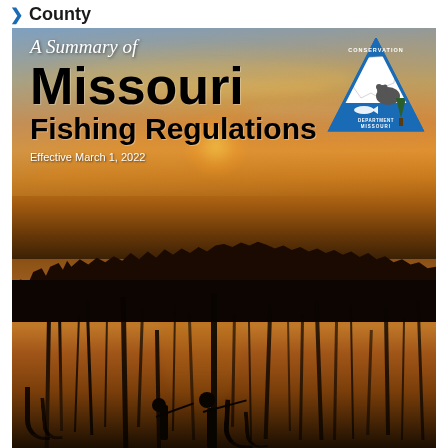County
[Figure (photo): Cover page of Missouri Fishing Regulations booklet. Background is a sunset/golden-hour photo of a lake with silhouetted fishermen standing in shallow water among reeds, with tree silhouettes reflected in the calm water. The sky shows orange and golden hues.]
A Summary of Missouri Fishing Regulations
Effective March 1, 2022